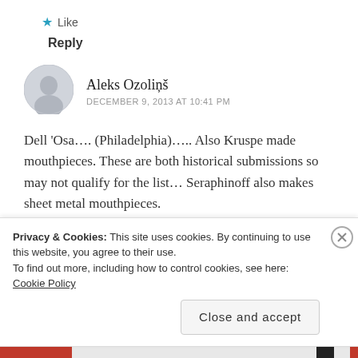★ Like
Reply
AleksOzoliņš
DECEMBER 9, 2013 AT 10:41 PM
Dell ‘Osa…. (Philadelphia)….. Also Kruspe made mouthpieces. These are both historical submissions so may not qualify for the list… Seraphinoff also makes sheet metal mouthpieces.
★ Like
Privacy & Cookies: This site uses cookies. By continuing to use this website, you agree to their use.
To find out more, including how to control cookies, see here: Cookie Policy
Close and accept